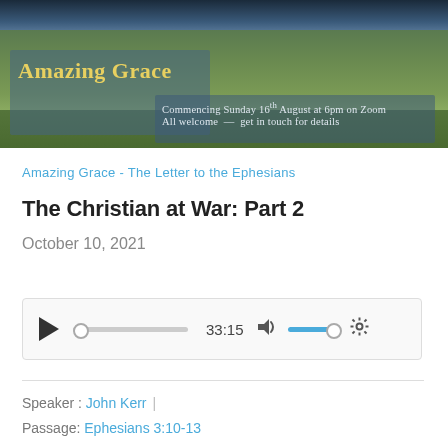[Figure (photo): Banner image of Scottish countryside with hills and sky, overlaid with semi-transparent blue boxes containing the text 'Amazing Grace', 'Commencing Sunday 16th August at 6pm on Zoom', and 'All welcome - get in touch for details']
Amazing Grace - The Letter to the Ephesians
The Christian at War: Part 2
October 10, 2021
[Figure (other): Audio player widget showing play button, progress bar, time 33:15, volume control, and settings gear icon]
Speaker : John Kerr
Passage: Ephesians 3:10-13